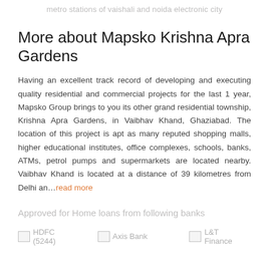metro stations of vaishali and noida electronic city
More about Mapsko Krishna Apra Gardens
Having an excellent track record of developing and executing quality residential and commercial projects for the last 1 year, Mapsko Group brings to you its other grand residential township, Krishna Apra Gardens, in Vaibhav Khand, Ghaziabad. The location of this project is apt as many reputed shopping malls, higher educational institutes, office complexes, schools, banks, ATMs, petrol pumps and supermarkets are located nearby. Vaibhav Khand is located at a distance of 39 kilometres from Delhi an…read more
Approved for Home loans from following banks
[Figure (logo): HDFC bank logo with text HDFC (5244)]
[Figure (logo): Axis Bank logo]
[Figure (logo): L&T Finance logo]